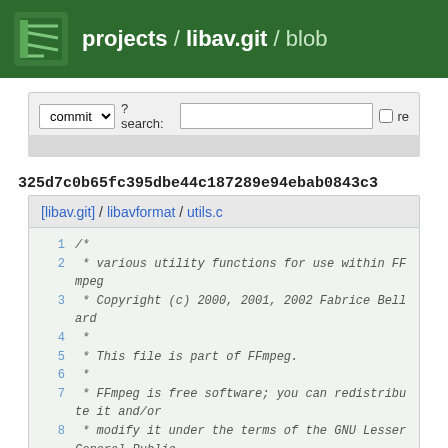projects / libav.git / blob
commit ? search: re
325d7c0b65fc395dbe44c187289e94ebab0843c3
[libav.git] / libavformat / utils.c
1 /*
2  * various utility functions for use within FFmpeg
3  * Copyright (c) 2000, 2001, 2002 Fabrice Bellard
4  *
5  * This file is part of FFmpeg.
6  *
7  * FFmpeg is free software; you can redistribute it and/or
8  * modify it under the terms of the GNU Lesser General Public